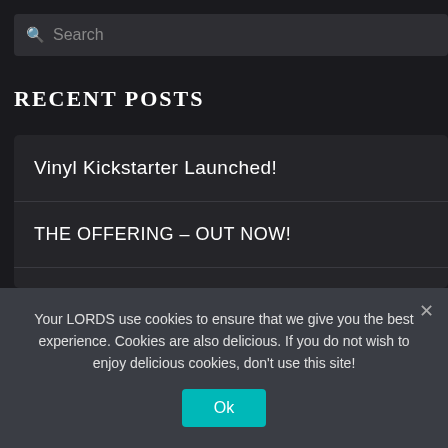Search
Recent Posts
Vinyl Kickstarter Launched!
THE OFFERING – OUT NOW!
DRAGONFORCE + Lords + Gus G – LIVE SHRED BATTLE!
Your LORDS use cookies to ensure that we give you the best experience. Cookies are also delicious. If you do not wish to enjoy delicious cookies, don't use this site!